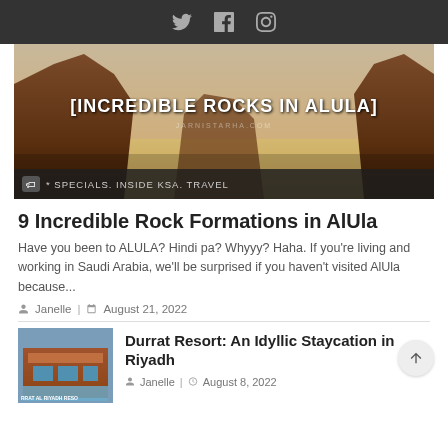Social icons: Twitter, Facebook, Instagram
[Figure (photo): Panoramic photo of incredible rock formations in AlUla desert landscape with text overlay '[INCREDIBLE ROCKS IN ALULA]' and tags bar showing '* SPECIALS. INSIDE KSA. TRAVEL']
9 Incredible Rock Formations in AlUla
Have you been to ALULA? Hindi pa? Whyyy? Haha. If you're living and working in Saudi Arabia, we'll be surprised if you haven't visited AlUla because...
Janelle | August 21, 2022
Durrat Resort: An Idyllic Staycation in Riyadh
[Figure (photo): Thumbnail of Durrat Al Riyadh Resort showing a pool and building]
Janelle | August 8, 2022